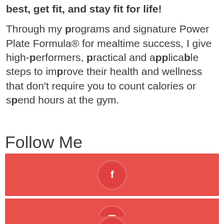best, get fit, and stay fit for life!
Through my programs and signature Power Plate Formula® for mealtime success, I give high-performers, practical and applicable steps to improve their health and wellness that don't require you to count calories or spend hours at the gym.
Follow Me
[Figure (infographic): Red banner with Facebook icon circle]
[Figure (infographic): Red banner with Instagram icon circle]
[Figure (infographic): Red banner with LinkedIn icon circle (partially visible)]